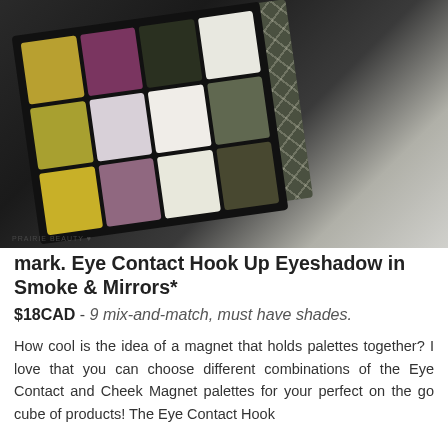[Figure (photo): An open Mark. Eye Contact Hook Up Eyeshadow palette in Smoke & Mirrors showing 12 eyeshadow shades in various colors including gold, purple, green, white, and dark shades, with a decorative geometric-patterned lid, on a marble background. Watermark reads 'PRAIRIE BEAUTY' with a heart.]
mark. Eye Contact Hook Up Eyeshadow in Smoke & Mirrors*
$18CAD - 9 mix-and-match, must have shades.
How cool is the idea of a magnet that holds palettes together? I love that you can choose different combinations of the Eye Contact and Cheek Magnet palettes for your perfect on the go cube of products! The Eye Contact Hook...